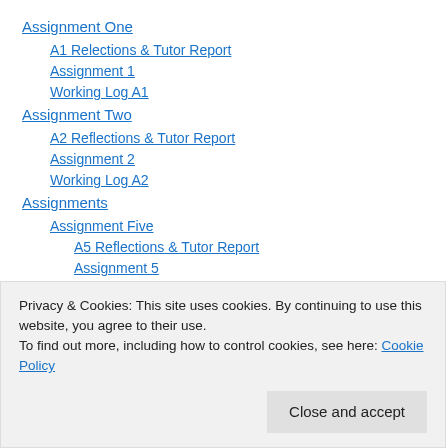Assignment One
A1 Relections & Tutor Report
Assignment 1
Working Log A1
Assignment Two
A2 Reflections & Tutor Report
Assignment 2
Working Log A2
Assignments
Assignment Five
A5 Reflections & Tutor Report
Assignment 5
Privacy & Cookies: This site uses cookies. By continuing to use this website, you agree to their use.
To find out more, including how to control cookies, see here: Cookie Policy
Close and accept